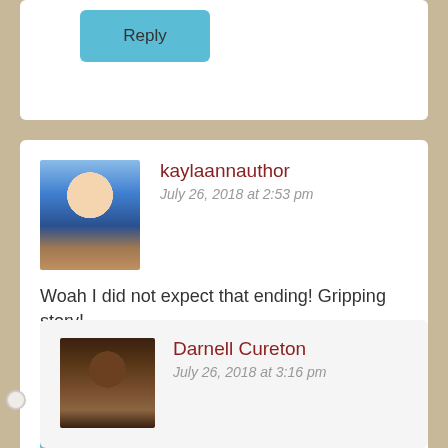[Figure (screenshot): Partial top comment card showing a Reply button (teal/cyan color)]
Reply
[Figure (photo): Profile photo of kaylaannauthor - woman with long blonde hair wearing blue top]
kaylaannauthor
July 26, 2018 at 2:53 pm
Woah I did not expect that ending! Gripping story!
Liked by 1 person
Reply
[Figure (photo): Profile photo of Darnell Cureton - person with glasses]
Darnell Cureton
July 26, 2018 at 3:16 pm